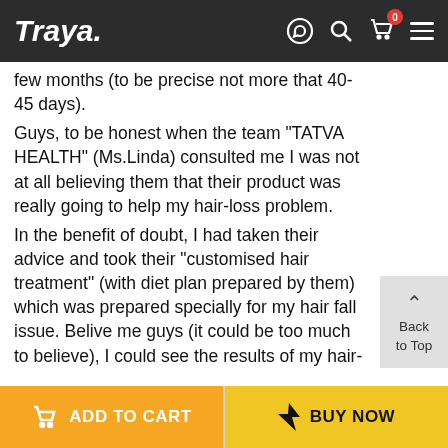Traya.
few months (to be precise not more that 40-45 days).
Guys, to be honest when the team "TATVA HEALTH" (Ms.Linda) consulted me I was not at all believing them that their product was really going to help my hair-loss problem.
In the benefit of doubt, I had taken their advice and took their "customised hair treatment" (with diet plan prepared by them) which was prepared specially for my hair fall issue. Belive me guys (it could be too much to believe), I could see the results of my hair-fall getting controlled within the first week (I swear on my mom guys).
So now it's been like 23 days that I am using this product mark my words guys "thier is no hairfall to me now".
Back to Top